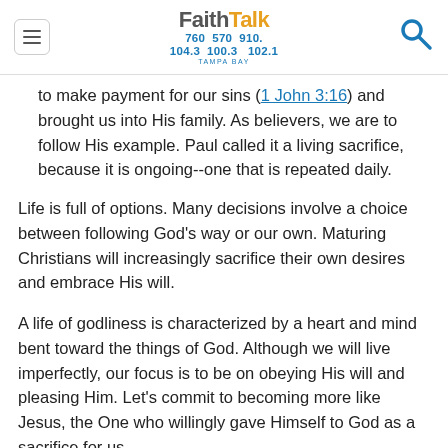FaithTalk 760 570 910 104.3 100.3 102.1 TAMPA BAY
to make payment for our sins (1 John 3:16) and brought us into His family. As believers, we are to follow His example. Paul called it a living sacrifice, because it is ongoing--one that is repeated daily.
Life is full of options. Many decisions involve a choice between following God's way or our own. Maturing Christians will increasingly sacrifice their own desires and embrace His will.
A life of godliness is characterized by a heart and mind bent toward the things of God. Although we will live imperfectly, our focus is to be on obeying His will and pleasing Him. Let's commit to becoming more like Jesus, the One who willingly gave Himself to God as a sacrifice for us.